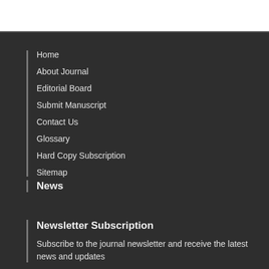Home
About Journal
Editorial Board
Submit Manuscript
Contact Us
Glossary
Hard Copy Subscription
Sitemap
News
Newsletter Subscription
Subscribe to the journal newsletter and receive the latest news and updates